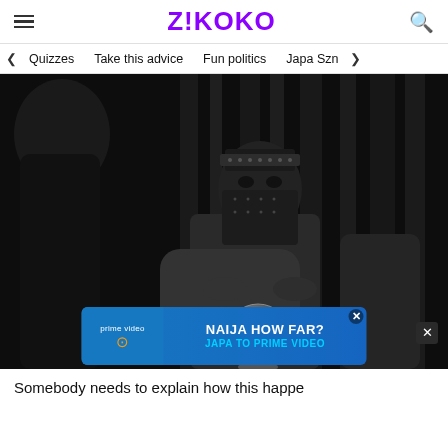Z!KOKO
Quizzes | Take this advice | Fun politics | Japa Szn
[Figure (photo): Black and white photograph of a masked fortune teller in ornate headwear sitting behind a crystal ball, with a client silhouetted on the left]
Somebody needs to explain how this happe